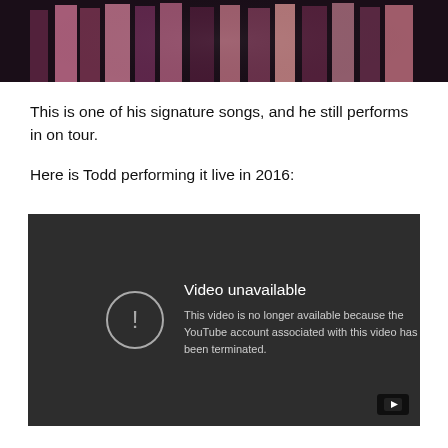[Figure (photo): Stage performance photo showing costumed performers on stage with dark background]
This is one of his signature songs, and he still performs in on tour.
Here is Todd performing it live in 2016:
[Figure (screenshot): YouTube video embed showing 'Video unavailable' error message. Text reads: 'This video is no longer available because the YouTube account associated with this video has been terminated.']